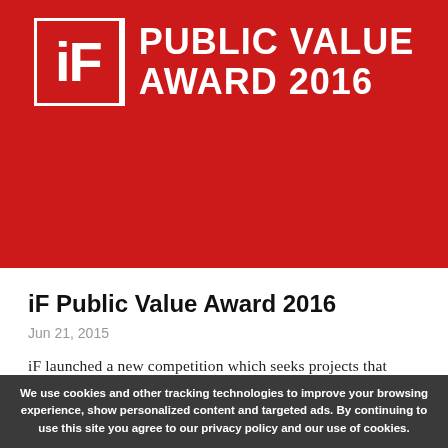[Figure (logo): iF Public Value Award 2016 logo — red background with white iF logo box and award text in white uppercase bold lettering]
iF Public Value Award 2016
Jun 21, 2015
iF launched a new competition which seeks projects that actively aim at improving living conditions, promoting peaceful coexistence or preserving the environment - in other words, creating a public value - including businesses'
We use cookies and other tracking technologies to improve your browsing experience, show personalized content and targeted ads. By continuing to use this site you agree to our privacy policy and our use of cookies.